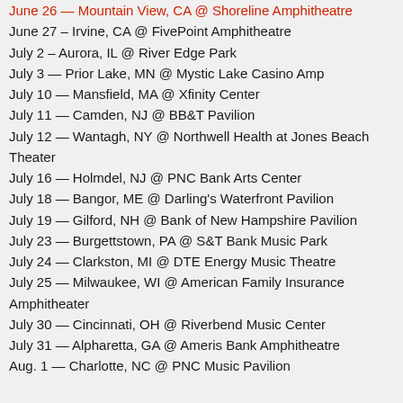June 26 — Mountain View, CA @ Shoreline Amphitheatre
June 27 – Irvine, CA @ FivePoint Amphitheatre
July 2 – Aurora, IL @ River Edge Park
July 3 — Prior Lake, MN @ Mystic Lake Casino Amp
July 10 — Mansfield, MA @ Xfinity Center
July 11 — Camden, NJ @ BB&T Pavilion
July 12 — Wantagh, NY @ Northwell Health at Jones Beach Theater
July 16 — Holmdel, NJ @ PNC Bank Arts Center
July 18 — Bangor, ME @ Darling's Waterfront Pavilion
July 19 — Gilford, NH @ Bank of New Hampshire Pavilion
July 23 — Burgettstown, PA @ S&T Bank Music Park
July 24 — Clarkston, MI @ DTE Energy Music Theatre
July 25 — Milwaukee, WI @ American Family Insurance Amphitheater
July 30 — Cincinnati, OH @ Riverbend Music Center
July 31 — Alpharetta, GA @ Ameris Bank Amphitheatre
Aug. 1 — Charlotte, NC @ PNC Music Pavilion